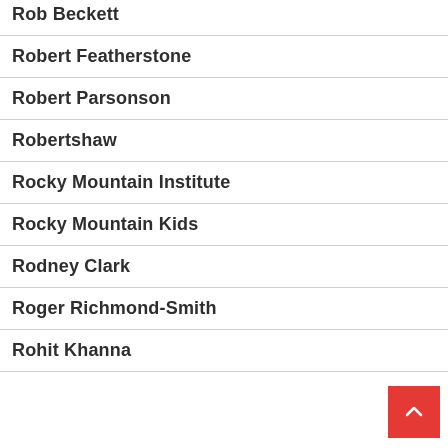Rob Beckett
Robert Featherstone
Robert Parsonson
Robertshaw
Rocky Mountain Institute
Rocky Mountain Kids
Rodney Clark
Roger Richmond-Smith
Rohit Khanna